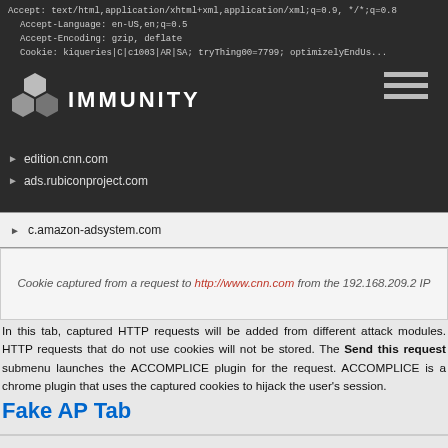[Figure (screenshot): Screenshot of Immunity software interface showing HTTP request headers and a list of domain entries (edition.cnn.com, ads.rubiconproject.com, c.amazon-adsystem.com) with Immunity logo and hamburger menu in the header bar.]
Cookie captured from a request to http://www.cnn.com from the 192.168.209.2 IP
In this tab, captured HTTP requests will be added from different attack modules. HTTP requests that do not use cookies will not be stored. The Send this request submenu launches the ACCOMPLICE plugin for the request. ACCOMPLICE is a chrome plugin that uses the captured cookies to hijack the user's session.
Fake AP Tab